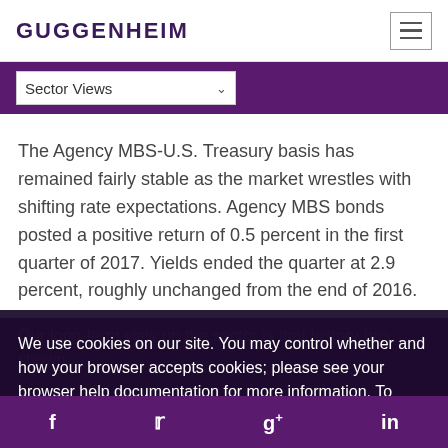GUGGENHEIM
Sector Views
The Agency MBS-U.S. Treasury basis has remained fairly stable as the market wrestles with shifting rate expectations. Agency MBS bonds posted a positive return of 0.5 percent in the first quarter of 2017. Yields ended the quarter at 2.9 percent, roughly unchanged from the end of 2016.
Our long-term view on the sector is that history has shown... to Agency MBS for duration management, we prefer a
We use cookies on our site. You may control whether and how your browser accepts cookies; please see your browser help documentation for more information. To learn more about the information we collect and how we use it, view our Privacy Policy.
f  twitter  g+  in